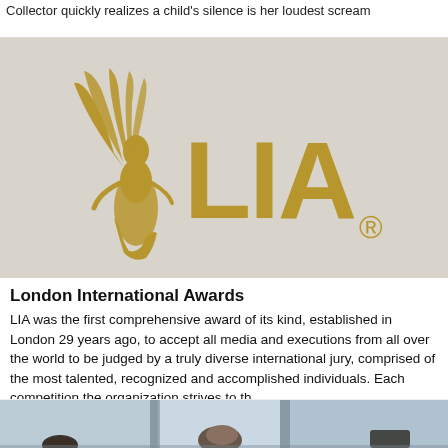Collector quickly realizes a child's silence is her loudest scream
[Figure (logo): LIA (London International Awards) gold logo on light grey background, featuring a winged female figure and the letters LIA with a registered trademark symbol]
London International Awards
LIA was the first comprehensive award of its kind, established in London 29 years ago, to accept all media and executions from all over the world to be judged by a truly diverse international jury, comprised of the most talented, recognized and accomplished individuals. Each competition the organization strives to th...
[Figure (photo): People seated indoors near large windows with natural light, appearing to be in a meeting or judging session]